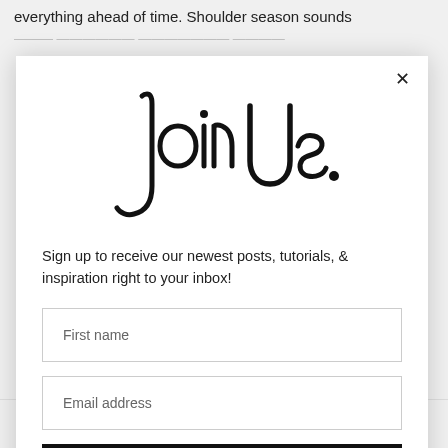everything ahead of time. Shoulder season sounds
[Figure (screenshot): Modal popup with 'Join Us.' handwritten-style logo, subscription form with First name field, Email address field, and Subscribe button, plus a close X button]
Sign up to receive our newest posts, tutorials, & inspiration right to your inbox!
First name
Email address
Subscribe
Tbilisi